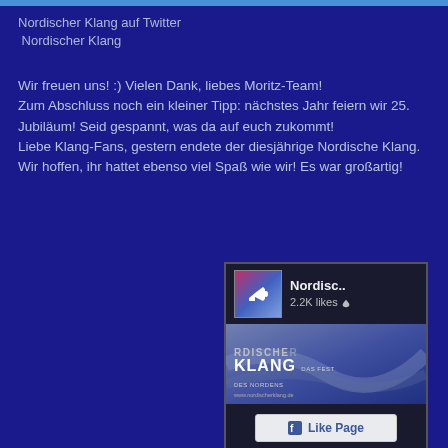Nordischer Klang auf Twitter
 Nordischer Klang
Wir freuen uns! :) Vielen Dank, liebes Moritz-Team!
Zum Abschluss noch ein kleiner Tipp: nächstes Jahr feiern wir 25. Jubiläum! Seid gespannt, was da auf euch zukommt!
Liebe Klang-Fans, gestern endete der diesjährige Nordische Klang. Wir hoffen, ihr hattet ebenso viel Spaß wie wir! Es war großartig!
[Figure (screenshot): Facebook Like Page widget for Nordischer Klang showing 2.2K likes with a Like Page button and banner image]